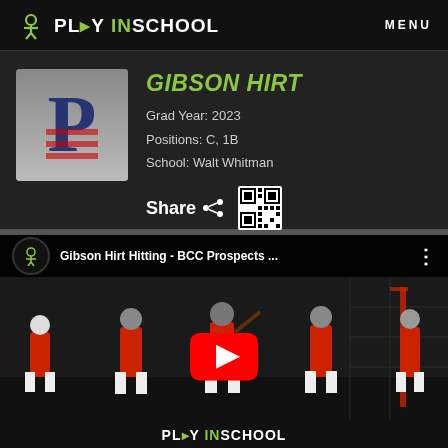PLAY IN SCHOOL   MENU
GIBSON HIRT
Grad Year: 2023
Positions: C, 1B
School: Walt Whitman
Share
[Figure (screenshot): YouTube video thumbnail showing baseball players in batting cages, titled 'Gibson Hirt Hitting - BCC Prospects ...' with a red YouTube play button overlay]
PLAY IN SCHOOL